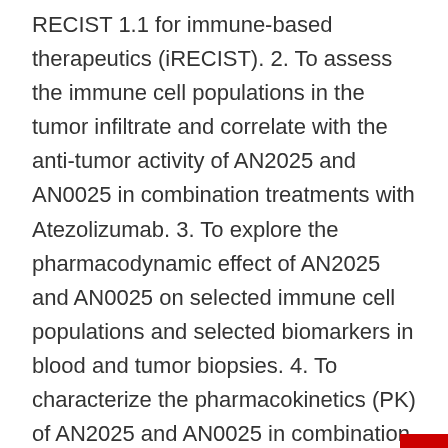RECIST 1.1 for immune-based therapeutics (iRECIST). 2. To assess the immune cell populations in the tumor infiltrate and correlate with the anti-tumor activity of AN2025 and AN0025 in combination treatments with Atezolizumab. 3. To explore the pharmacodynamic effect of AN2025 and AN0025 on selected immune cell populations and selected biomarkers in blood and tumor biopsies. 4. To characterize the pharmacokinetics (PK) of AN2025 and AN0025 in combination treatments with Atezolizumab and explore the potential exposure/response relationship with selected pharmacodynamic biomarkers as appropriate. 5. Efficacy by programmed death receptor-ligand 1 (PD-L1) expression.